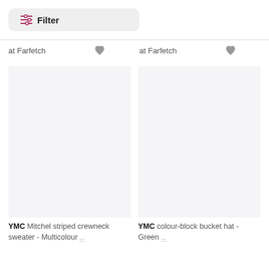Filter
at Farfetch
at Farfetch
[Figure (other): Empty product image placeholder for YMC Mitchel striped crewneck sweater]
YMC Mitchel striped crewneck sweater - Multicolour ...
[Figure (other): Empty product image placeholder for YMC colour-block bucket hat]
YMC colour-block bucket hat - Green ...